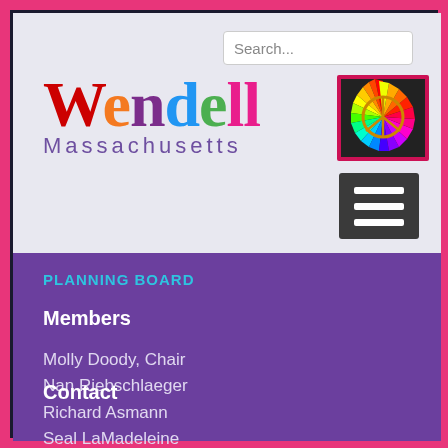[Figure (screenshot): Search bar with placeholder text 'Search...']
[Figure (logo): Wendell Massachusetts colorful text logo with rainbow peace sign image and hamburger menu icon]
PLANNING BOARD
Members
Molly Doody, Chair
Nan Riebschlaeger
Richard Asmann
Seal LaMadeleine
Mary Thomas
Contact